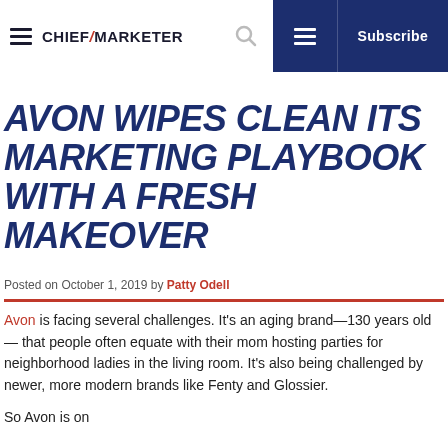CHIEF MARKETER — Subscribe
AVON WIPES CLEAN ITS MARKETING PLAYBOOK WITH A FRESH MAKEOVER
Posted on October 1, 2019 by Patty Odell
Avon is facing several challenges. It's an aging brand—130 years old— that people often equate with their mom hosting parties for neighborhood ladies in the living room. It's also being challenged by newer, more modern brands like Fenty and Glossier.
So Avon is on…